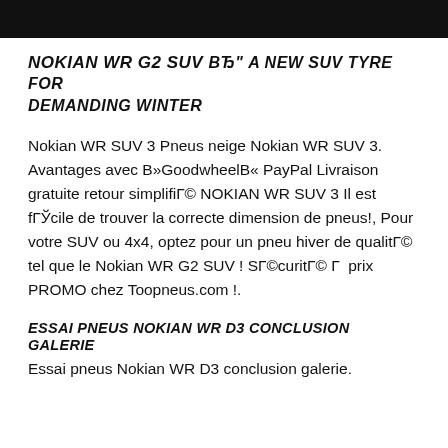[Figure (photo): ]
NOKIAN WR G2 SUV вЂ" A NEW SUV TYRE FOR DEMANDING WINTER
Nokian WR SUV 3 Pneus neige Nokian WR SUV 3. Avantages avec В»GoodwheelВ« PayPal Livraison gratuite retour simplifiГ© NOKIAN WR SUV 3 Il est fГЎcile de trouver la correcte dimension de pneus!, Pour votre SUV ou 4x4, optez pour un pneu hiver de qualitГ© tel que le Nokian WR G2 SUV ! SГ©curitГ© Г  prix PROMO chez Toopneus.com !.
ESSAI PNEUS NOKIAN WR D3 CONCLUSION GALERIE
Essai pneus Nokian WR D3 conclusion galerie.